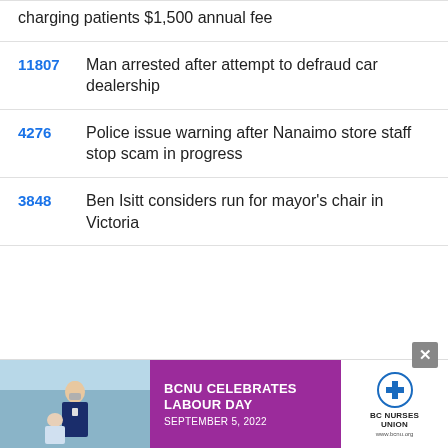charging patients $1,500 annual fee
11807 Man arrested after attempt to defraud car dealership
4276 Police issue warning after Nanaimo store staff stop scam in progress
3848 Ben Isitt considers run for mayor's chair in Victoria
[Figure (infographic): BCNU Celebrates Labour Day September 5, 2022 advertisement banner with photo of nurse and BC Nurses Union logo]